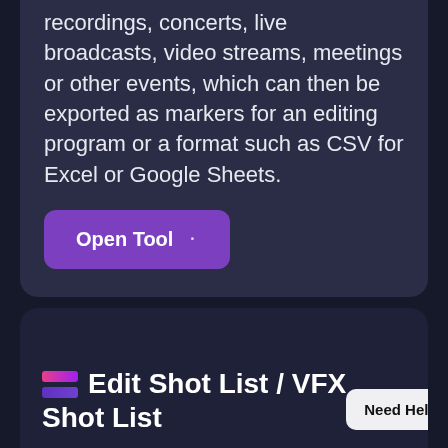recordings, concerts, live broadcasts, video streams, meetings or other events, which can then be exported as markers for an editing program or a format such as CSV for Excel or Google Sheets.
[Figure (other): Purple 'Open Tool' button with arrow icon]
[Figure (other): Dark card section showing Edit Shot List / VFX Shot List title with colorful stacked bar icon and a 'Need Help?' button]
Edit Shot List / VFX Shot List